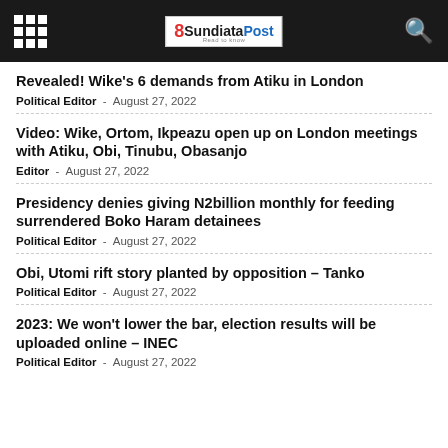8SundiataPost
Revealed! Wike’s 6 demands from Atiku in London
Political Editor - August 27, 2022
Video: Wike, Ortom, Ikpeazu open up on London meetings with Atiku, Obi, Tinubu, Obasanjo
Editor - August 27, 2022
Presidency denies giving N2billion monthly for feeding surrendered Boko Haram detainees
Political Editor - August 27, 2022
Obi, Utomi rift story planted by opposition – Tanko
Political Editor - August 27, 2022
2023: We won’t lower the bar, election results will be uploaded online – INEC
Political Editor - August 27, 2022